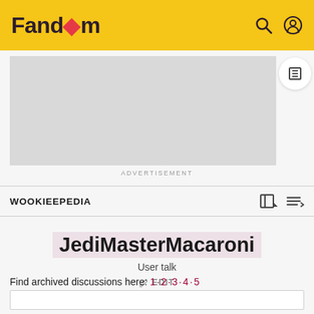Fandom
[Figure (screenshot): Advertisement placeholder (grey rectangle)]
ADVERTISEMENT
WOOKIEEPEDIA
JediMasterMacaroni
User talk
EDIT
Find archived discussions here: 1 · 2 · 3 · 4 · 5